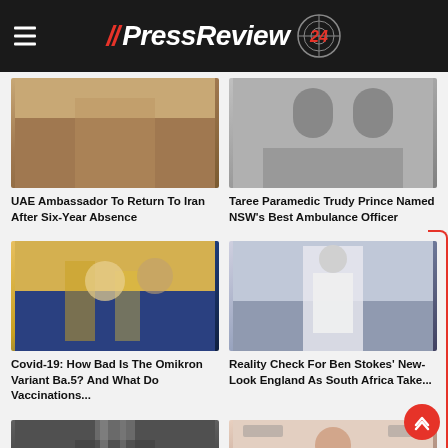[Figure (logo): PressReview24 news website logo with hamburger menu on dark header bar]
[Figure (photo): Partial photo of person or scene related to UAE Ambassador story]
[Figure (photo): Partial photo related to Taree Paramedic story]
UAE Ambassador To Return To Iran After Six-Year Absence
Taree Paramedic Trudy Prince Named NSW's Best Ambulance Officer
[Figure (photo): Outdoor market scene with people in hats, colourful awnings]
[Figure (photo): Cricket player in white uniform with helmet, blurred crowd background]
Covid-19: How Bad Is The Omikron Variant Ba.5? And What Do Vaccinations...
Reality Check For Ben Stokes' New-Look England As South Africa Take...
[Figure (photo): Black and white image of waterfall or rock formation]
[Figure (photo): Woman smiling at media event with branded step-and-repeat backdrop]